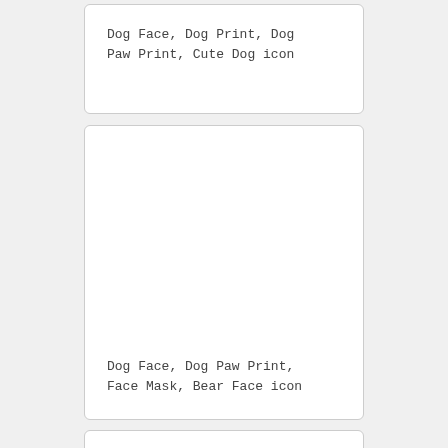[Figure (illustration): Card with text: Dog Face, Dog Print, Dog Paw Print, Cute Dog icon]
Dog Face, Dog Print, Dog Paw Print, Cute Dog icon
[Figure (illustration): Card with text: Dog Face, Dog Paw Print, Face Mask, Bear Face icon]
Dog Face, Dog Paw Print, Face Mask, Bear Face icon
[Figure (illustration): Card (bottom, partially visible, no text shown)]